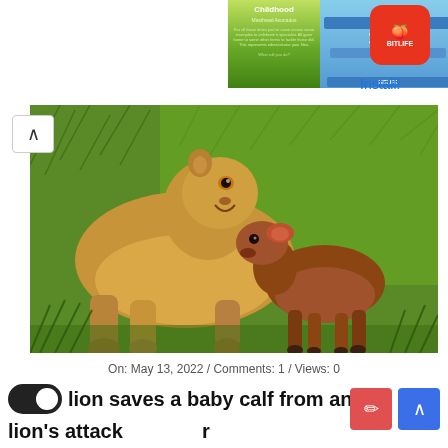[Figure (screenshot): Advertisement banner for BitLife app showing a book cover and BitLife logo with Install button]
[Figure (photo): A lioness standing next to a baby calf in green grass, with the lioness appearing to nuzzle or interact with the small brown calf]
On: May 13, 2022 / Comments: 1 / Views: 0
lion saves a baby calf from another lion's attack